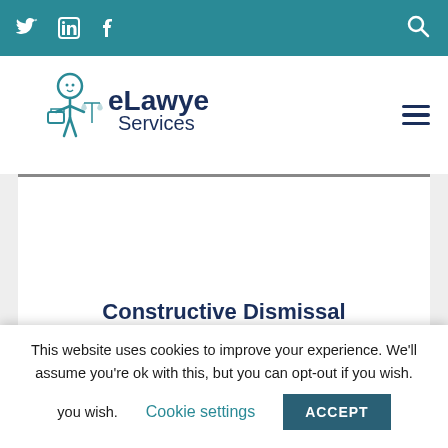Social icons: Twitter, LinkedIn, Facebook; Search icon
[Figure (logo): eLawyer Services logo with cartoon figure holding scales of justice]
[Figure (photo): Image placeholder area for Constructive Dismissal article]
Constructive Dismissal
This website uses cookies to improve your experience. We'll assume you're ok with this, but you can opt-out if you wish. Cookie settings ACCEPT